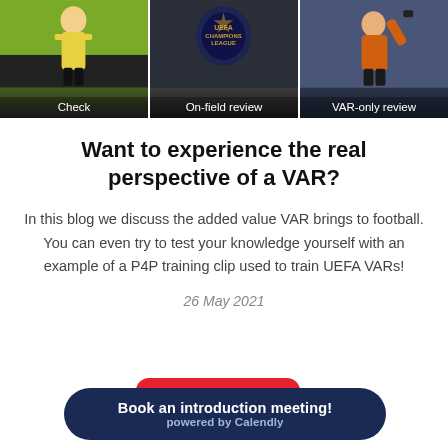[Figure (photo): Three-panel image strip showing football referee scenarios. Left panel: referee in yellow shirt on green pitch labeled 'Check'. Middle panel: UEFA Champions League referee scenario labeled 'On-field review'. Right panel: referee in orange shirt labeled 'VAR-only review'.]
Want to experience the real perspective of a VAR?
In this blog we discuss the added value VAR brings to football. You can even try to test your knowledge yourself with an example of a P4P training clip used to train UEFA VARs!
26 May 2021
Book an introduction meeting!
powered by Calendly